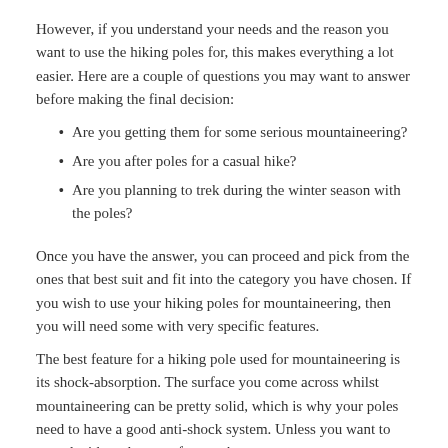However, if you understand your needs and the reason you want to use the hiking poles for, this makes everything a lot easier. Here are a couple of questions you may want to answer before making the final decision:
Are you getting them for some serious mountaineering?
Are you after poles for a casual hike?
Are you planning to trek during the winter season with the poles?
Once you have the answer, you can proceed and pick from the ones that best suit and fit into the category you have chosen. If you wish to use your hiking poles for mountaineering, then you will need some with very specific features.
The best feature for a hiking pole used for mountaineering is its shock-absorption. The surface you come across whilst mountaineering can be pretty solid, which is why your poles need to have a good anti-shock system. Unless you want to pound with each step, of course!
The poles for mountaineering is suitable for steep and while that…